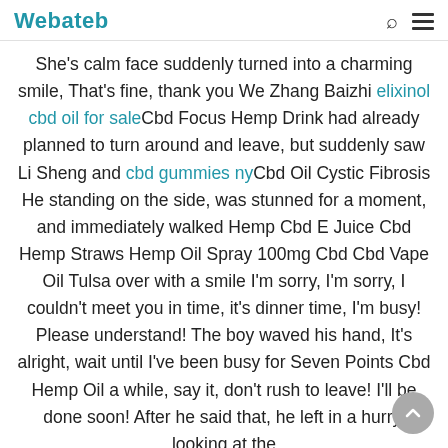Webateb
She’s calm face suddenly turned into a charming smile, That’s fine, thank you We Zhang Baizhi elixinol cbd oil for saleCbd Focus Hemp Drink had already planned to turn around and leave, but suddenly saw Li Sheng and cbd gummies nyCbd Oil Cystic Fibrosis He standing on the side, was stunned for a moment, and immediately walked Hemp Cbd E Juice Cbd Hemp Straws Hemp Oil Spray 100mg Cbd Cbd Vape Oil Tulsa over with a smile I’m sorry, I’m sorry, I couldn’t meet you in time, it’s dinner time, I’m busy! Please understand! The boy waved his hand, It’s alright, wait until I’ve been busy for Seven Points Cbd Hemp Oil a while, say it, don’t rush to leave! I’ll be done soon! After he said that, he left in a hurry, looking at the posture, he went back to the kitchen again.